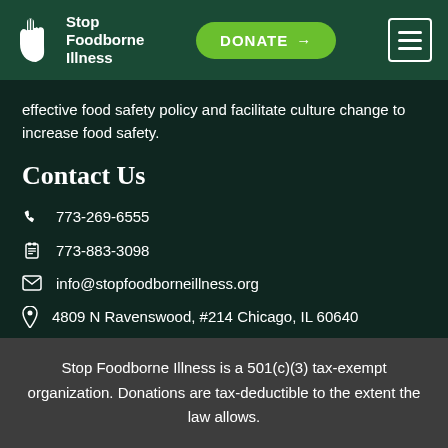Stop Foodborne Illness — DONATE →
effective food safety policy and facilitate culture change to increase food safety.
Contact Us
773-269-6555
773-883-3098
info@stopfoodborneillness.org
4809 N Ravenswood, #214 Chicago, IL 60640
Stop Foodborne Illness is a 501(c)(3) tax-exempt organization. Donations are tax-deductible to the extent the law allows.